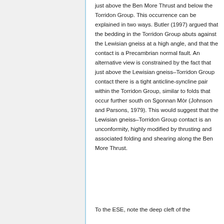just above the Ben More Thrust and below the Torridon Group. This occurrence can be explained in two ways. Butler (1997) argued that the bedding in the Torridon Group abuts against the Lewisian gneiss at a high angle, and that the contact is a Precambrian normal fault. An alternative view is constrained by the fact that just above the Lewisian gneiss–Torridon Group contact there is a tight anticline-syncline pair within the Torridon Group, similar to folds that occur further south on Sgonnan Mòr (Johnson and Parsons, 1979). This would suggest that the Lewisian gneiss–Torridon Group contact is an unconformity, highly modified by thrusting and associated folding and shearing along the Ben More Thrust.
To the ESE, note the deep cleft of the